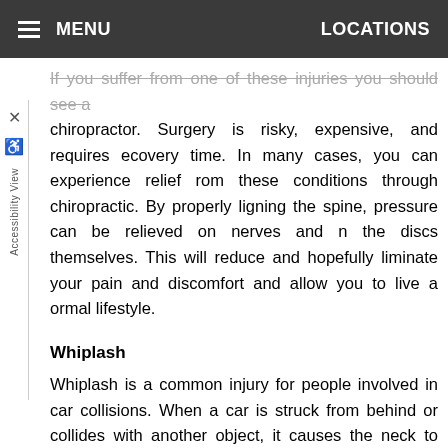MENU   LOCATIONS
nerves around the spine and cause pain.
If you suffer from one of these injuries you should see a chiropractor. Surgery is risky, expensive, and requires recovery time. In many cases, you can experience relief from these conditions through chiropractic. By properly aligning the spine, pressure can be relieved on nerves and on the discs themselves. This will reduce and hopefully eliminate your pain and discomfort and allow you to live a normal lifestyle.
Whiplash
Whiplash is a common injury for people involved in car collisions. When a car is struck from behind or collides with another object, it causes the neck to snap back and forth violently. This causes the muscles and ligaments to overextend, leading to strains and/or tears. This is referred to as soft tissue damage, and can cause stiffness and soreness. Whiplash can also cause structural damage such as misaligned vertebrae, herniated, bulging or ruptured discs, or nerve damage due to the overextension from the violent movement.